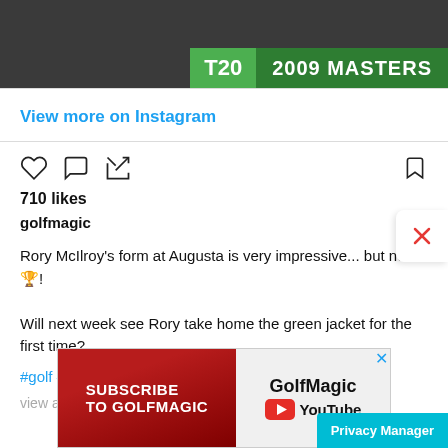[Figure (screenshot): Top banner image showing golf scene with T20 and 2009 MASTERS text overlay]
View more on Instagram
[Figure (infographic): Instagram action icons: heart, comment bubble, share arrow, and bookmark icon]
710 likes
golfmagic
Rory McIlroy's form at Augusta is very impressive... but no 🏆!

Will next week see Rory take home the green jacket for the first time?
#golf #rorymcilroy #augusta #golfing
view all 21 comments
[Figure (screenshot): GolfMagic YouTube subscribe advertisement banner with red left panel saying SUBSCRIBE TO GOLFMAGIC and white right panel with GolfMagic YouTube logo]
Privacy Manager